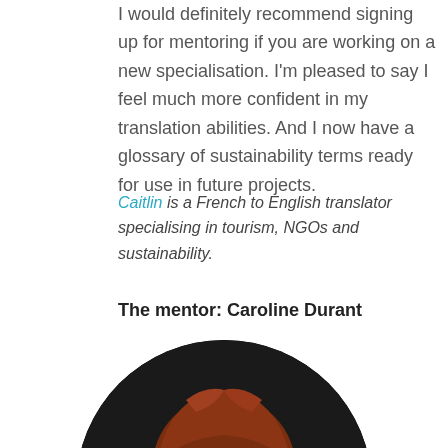I would definitely recommend signing up for mentoring if you are working on a new specialisation. I'm pleased to say I feel much more confident in my translation abilities. And I now have a glossary of sustainability terms ready for use in future projects.
Caitlin is a French to English translator specialising in tourism, NGOs and sustainability.
The mentor: Caroline Durant
[Figure (photo): Circular portrait photo of Caroline Durant, a woman with red/auburn hair and glasses, photographed against a dark background]